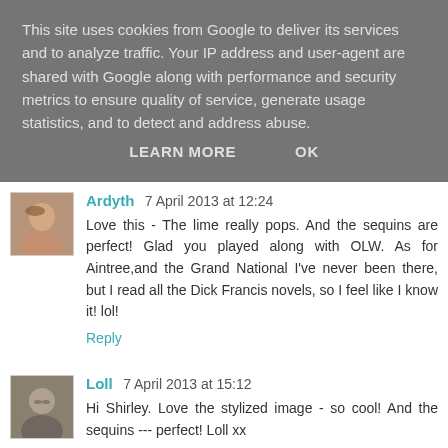This site uses cookies from Google to deliver its services and to analyze traffic. Your IP address and user-agent are shared with Google along with performance and security metrics to ensure quality of service, generate usage statistics, and to detect and address abuse.
LEARN MORE    OK
Ardyth  7 April 2013 at 12:24
Love this - The lime really pops. And the sequins are perfect! Glad you played along with OLW. As for Aintree,and the Grand National I've never been there, but I read all the Dick Francis novels, so I feel like I know it! lol!
Reply
Loll  7 April 2013 at 15:12
Hi Shirley. Love the stylized image - so cool! And the sequins --- perfect! Loll xx
Reply